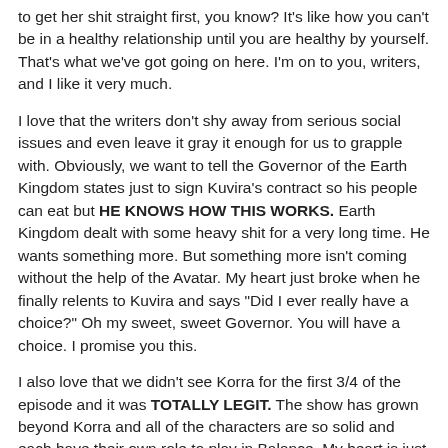to get her shit straight first, you know? It's like how you can't be in a healthy relationship until you are healthy by yourself. That's what we've got going on here. I'm on to you, writers, and I like it very much.
I love that the writers don't shy away from serious social issues and even leave it gray it enough for us to grapple with. Obviously, we want to tell the Governor of the Earth Kingdom states just to sign Kuvira's contract so his people can eat but HE KNOWS HOW THIS WORKS. Earth Kingdom dealt with some heavy shit for a very long time. He wants something more. But something more isn't coming without the help of the Avatar. My heart just broke when he finally relents to Kuvira and says "Did I ever really have a choice?" Oh my sweet, sweet Governor. You will have a choice. I promise you this.
I also love that we didn't see Korra for the first 3/4 of the episode and it was TOTALLY LEGIT. The show has grown beyond Korra and all of the characters are so solid and each have their own role to play in Balance. My heart is just exploding with the feels, y'all.